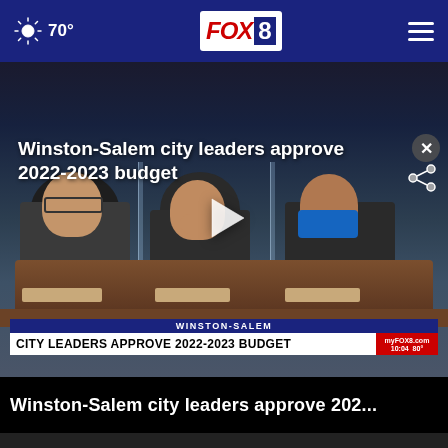70° FOX 8
[Figure (screenshot): FOX 8 news broadcast screenshot showing Winston-Salem city council meeting with lower-third graphic reading CITY LEADERS APPROVE 2022-2023 BUDGET]
Winston-Salem city leaders approve 2022-2023 budget
Winston-Salem city leaders approve 202...